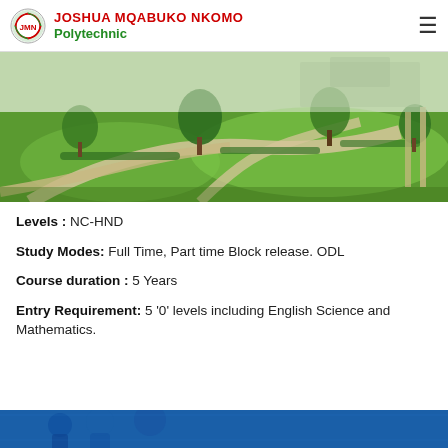JOSHUA MQABUKO NKOMO Polytechnic
[Figure (photo): Aerial/ground-level view of polytechnic campus with green lawns, walking paths, trees and hedges]
Levels : NC-HND
Study Modes: Full Time, Part time Block release. ODL
Course duration : 5 Years
Entry Requirement: 5 '0' levels including English Science and Mathematics.